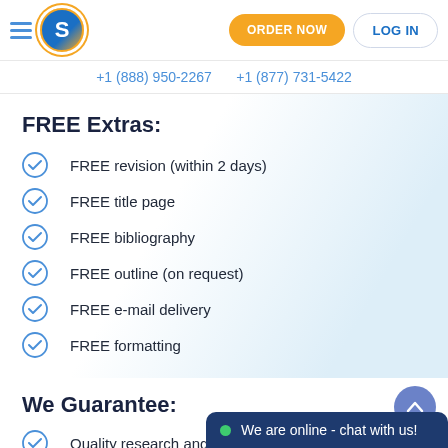ORDER NOW  LOG IN
+1 (888) 950-2267  +1 (877) 731-5422
FREE Extras:
FREE revision (within 2 days)
FREE title page
FREE bibliography
FREE outline (on request)
FREE e-mail delivery
FREE formatting
We Guarantee:
Quality research and writing
24/7/365 Live support